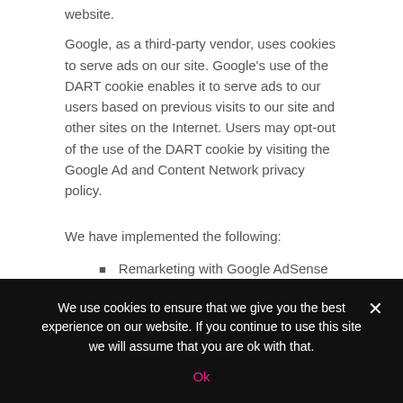website.
Google, as a third-party vendor, uses cookies to serve ads on our site. Google's use of the DART cookie enables it to serve ads to our users based on previous visits to our site and other sites on the Internet. Users may opt-out of the use of the DART cookie by visiting the Google Ad and Content Network privacy policy.
We have implemented the following:
Remarketing with Google AdSense
Google Display Network Impression Reporting
We use cookies to ensure that we give you the best experience on our website. If you continue to use this site we will assume that you are ok with that.
Ok